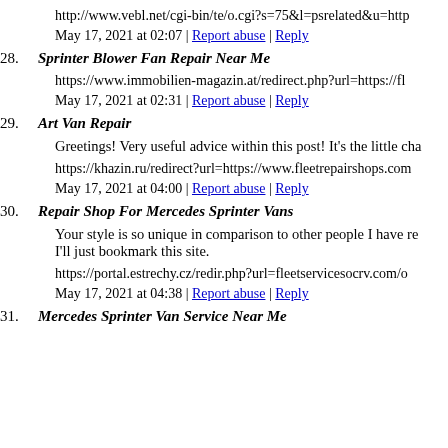http://www.vebl.net/cgi-bin/te/o.cgi?s=75&l=psrelated&u=http
May 17, 2021 at 02:07 | Report abuse | Reply
28. Sprinter Blower Fan Repair Near Me
https://www.immobilien-magazin.at/redirect.php?url=https://fl
May 17, 2021 at 02:31 | Report abuse | Reply
29. Art Van Repair
Greetings! Very useful advice within this post! It's the little cha
https://khazin.ru/redirect?url=https://www.fleetrepairshops.com
May 17, 2021 at 04:00 | Report abuse | Reply
30. Repair Shop For Mercedes Sprinter Vans
Your style is so unique in comparison to other people I have read from. I'll just bookmark this site.
https://portal.estrechy.cz/redir.php?url=fleetservicesocrv.com/o
May 17, 2021 at 04:38 | Report abuse | Reply
31. Mercedes Sprinter Van Service Near Me